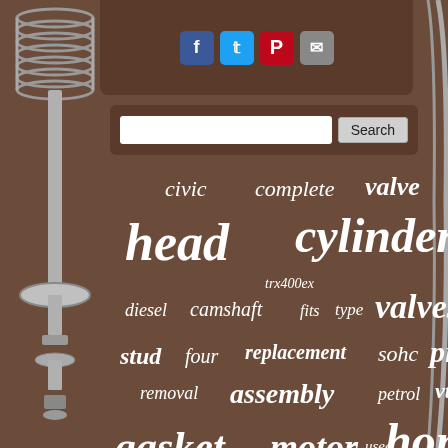[Figure (screenshot): Social media share icons: Facebook, Twitter, Pinterest, Email]
[Figure (screenshot): Search input box with Search button]
[Figure (infographic): Tag cloud with automotive/engine part keywords in various sizes on brown background. Words include: civic, complete, valve, head, cylinder, trx400ex, diesel, camshaft, fits, type, valves, stud, four, replacement, sohc, piston, removal, assembly, petrol, vtec, gasket, motor, used, honda, cams, acura, i-dtec, cover, part, accord, rebuild, engine, cr-v, 250r, genuine]